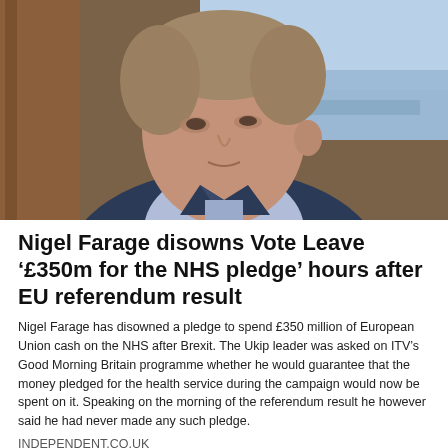[Figure (photo): Close-up photo of a man in a dark suit and light blue dress shirt, photographed from the side/front angle. Background shows blurred indoor studio setting with wooden elements and blue tones.]
Nigel Farage disowns Vote Leave ‘£350m for the NHS pledge’ hours after EU referendum result
Nigel Farage has disowned a pledge to spend £350 million of European Union cash on the NHS after Brexit. The Ukip leader was asked on ITV’s Good Morning Britain programme whether he would guarantee that the money pledged for the health service during the campaign would now be spent on it. Speaking on the morning of the referendum result he however said he had never made any such pledge.
INDEPENDENT.CO.UK